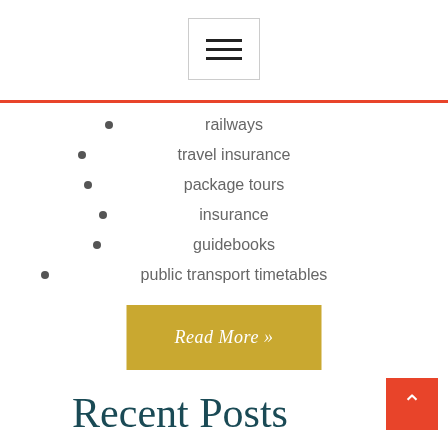[Figure (other): Hamburger menu icon inside a bordered square box]
railways
travel insurance
package tours
insurance
guidebooks
public transport timetables
Read More »
Recent Posts